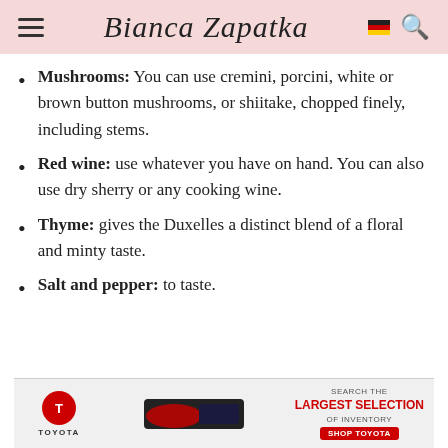Bianca Zapatka
Mushrooms: You can use cremini, porcini, white or brown button mushrooms, or shiitake, chopped finely, including stems.
Red wine: use whatever you have on hand. You can also use dry sherry or any cooking wine.
Thyme: gives the Duxelles a distinct blend of a floral and minty taste.
Salt and pepper: to taste.
[Figure (infographic): Toyota advertisement banner: Toyota logo with car image on the left, text 'SEARCH THE LARGEST SELECTION OF INVENTORY' with a red 'SHOP TOYOTA' button on the right]